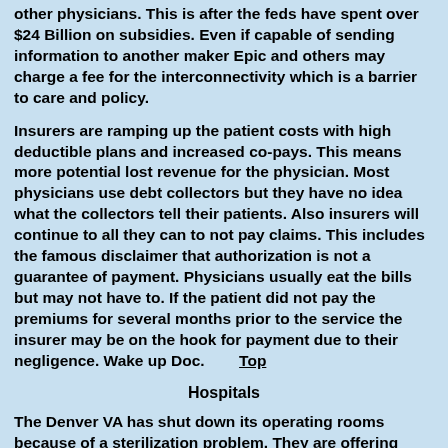other physicians.  This is after the feds have spent over $24 Billion on subsidies.  Even if capable of sending information to another maker Epic and others may charge a fee for the interconnectivity which is a barrier to care and policy.
Insurers are ramping up the patient costs with high deductible plans and increased co-pays.  This means more potential lost revenue for the physician.  Most physicians use debt collectors but they have no idea what the collectors tell their patients.  Also insurers will continue to all they can to not pay claims. This includes the famous disclaimer that authorization is not a guarantee of payment.  Physicians usually eat the bills but may not have to.  If the patient did not pay the premiums for several months prior to the service the insurer may be on the hook for payment due to their negligence.  Wake up Doc.        Top
Hospitals
The Denver VA has shut down its operating rooms because of a sterilization problem.  They are offering patients scheduled for surgery the option to wait for